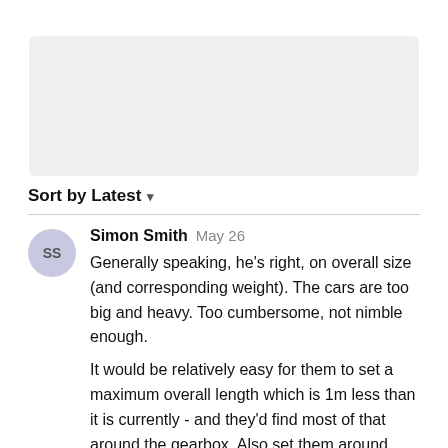[Figure (other): Grey placeholder box at top of page]
Sort by Latest ▾
Simon Smith May 26
Generally speaking, he's right, on overall size (and corresponding weight). The cars are too big and heavy. Too cumbersome, not nimble enough.
It would be relatively easy for them to set a maximum overall length which is 1m less than it is currently - and they'd find most of that around the gearbox. Also set them around 0.3m less wide.
Then I'd have both a maximum weight of 800kg and minimum weight of 750kg.
That way we can incentivize the teams to